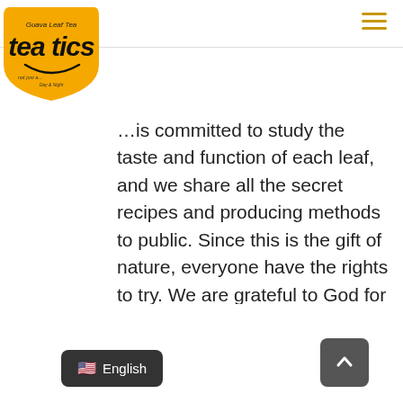[Figure (logo): Tea-tics Guava Leaf Tea logo — yellow shield shape with black handwritten 'tea tics' text and taglines]
...is committed to study the taste and function of each leaf, and we share all the secret recipes and producing methods to public. Since this is the gift of nature, everyone have the rights to try. We are grateful to God for leaving this to humans. Greediness incorrect eating styles have brought many chronic diseases to people, but nature has opened a way for us to use it to relieve chronic diseases and buy time to restore a healthy life.